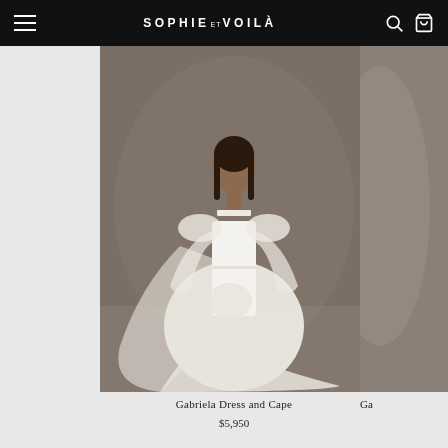SOPHIE ET VOILÀ
[Figure (photo): Fashion/bridal model wearing a white dress with sheer sleeves and flowing cape/train, standing against a taupe-brown studio background. The dress has a square neckline and voluminous tulle elements.]
Gabriela Dress and Cape
$5,950